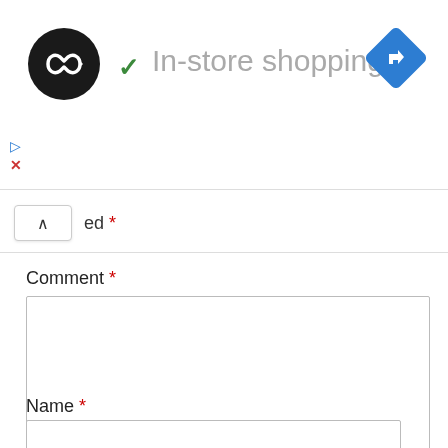[Figure (logo): Black circular logo with white infinity/loop arrow icon]
In-store shopping
[Figure (other): Blue diamond-shaped navigation icon with white right-turn arrow]
ed *
Comment *
Name *